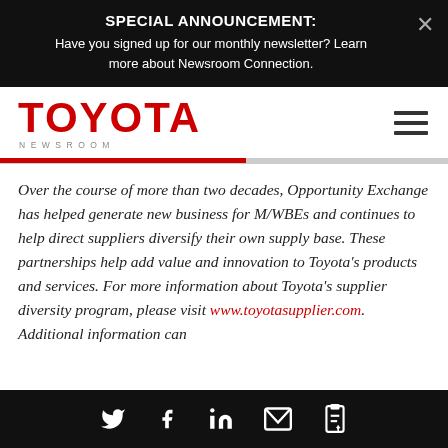SPECIAL ANNOUNCEMENT: Have you signed up for our monthly newsletter? Learn more about Newsroom Connection.
[Figure (logo): Toyota Newsroom logo in red with NEWSROOM in grey letters below]
Over the course of more than two decades, Opportunity Exchange has helped generate new business for M/WBEs and continues to help direct suppliers diversify their own supply base. These partnerships help add value and innovation to Toyota's products and services. For more information about Toyota's supplier diversity program, please visit www.toyotasupplier.com. Additional information can
Social share icons: Twitter, Facebook, LinkedIn, Email, Link